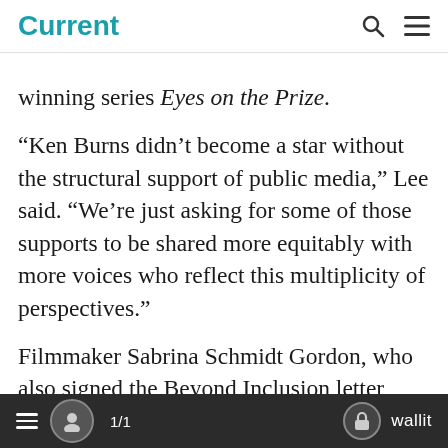Current
winning series Eyes on the Prize.
“Ken Burns didn’t become a star without the structural support of public media,” Lee said. “We’re just asking for some of those supports to be shared more equitably with more voices who reflect this multiplicity of perspectives.”
Filmmaker Sabrina Schmidt Gordon, who also signed the Beyond Inclusion letter, told Current that PBS could avoid making empty
1/1  wallit